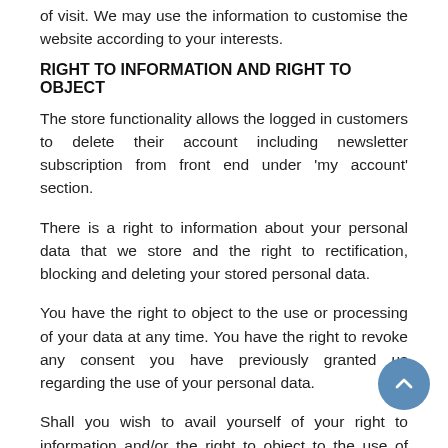of visit. We may use the information to customise the website according to your interests.
RIGHT TO INFORMATION AND RIGHT TO OBJECT
The store functionality allows the logged in customers to delete their account including newsletter subscription from front end under ‘my account’ section.
There is a right to information about your personal data that we store and the right to rectification, blocking and deleting your stored personal data.
You have the right to object to the use or processing of your data at any time. You have the right to revoke any consent you have previously granted us regarding the use of your personal data.
Shall you wish to avail yourself of your right to information and/or the right to object to the use of your personal data, or if you have any other questions on privacy policy, please send us an email at info@gemmarum.it
You should be aware that getting a new computer...